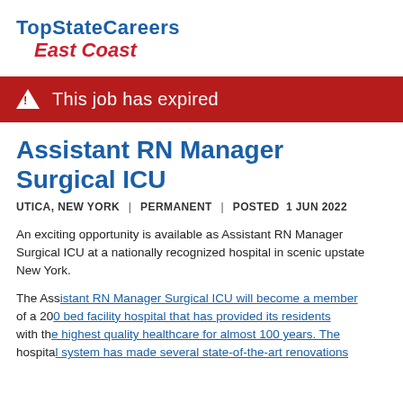TopStateCareers East Coast
This job has expired
Assistant RN Manager Surgical ICU
UTICA, NEW YORK | PERMANENT | POSTED 1 JUN 2022
An exciting opportunity is available as Assistant RN Manager Surgical ICU at a nationally recognized hospital in scenic upstate New York.
The Assistant RN Manager Surgical ICU will become a member of a 200 bed facility hospital that has provided its residents with the highest quality healthcare for almost 100 years. The hospital system has made several state-of-the-art renovations to their equipment and facility to ensure top quality care. The
This site uses cookies. By continuing to use this site you consent to our use of cookies.